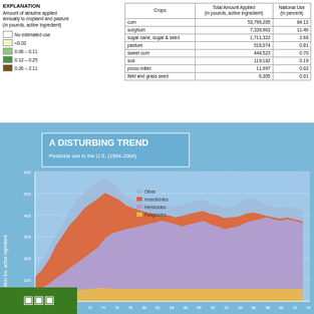EXPLANATION
Amount of atrazine applied annually to cropland and pasture (in pounds, active ingredient)
No estimated use
<0.02
0.08 – 0.11
0.12 – 0.25
0.26 – 2.11
| Crops | Total Amount Applied (in pounds, active ingredient) | National Use (in percent) |
| --- | --- | --- |
| corn | 53,796,205 | 84.13 |
| sorghum | 7,339,963 | 11.49 |
| sugar cane, sugar & seed | 1,711,322 | 2.68 |
| pasture | 518,074 | 0.81 |
| sweet corn | 444,523 | 0.70 |
| sod | 119,182 | 0.19 |
| proso millet | 11,997 | 0.02 |
| field and grass seed | 6,305 | 0.01 |
[Figure (area-chart): Pesticide use in the U.S. (1964-2004). Stacked area chart showing million lbs. active ingredient over time for Other, Insecticides, Herbicides, and Fungicides categories.]